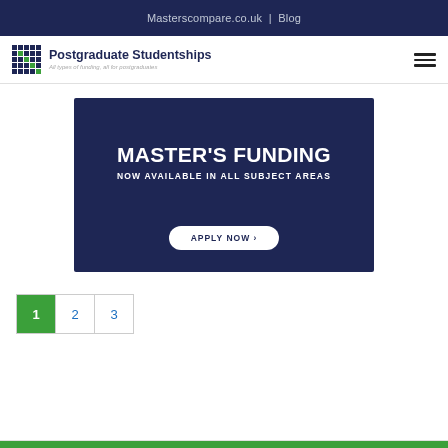Masterscompare.co.uk | Blog
[Figure (logo): Postgraduate Studentships logo with grid icon. Tagline: All types of funding, all for postgraduates]
[Figure (infographic): Dark navy banner advertisement: MASTER'S FUNDING NOW AVAILABLE IN ALL SUBJECT AREAS with APPLY NOW > button]
1  2  3 (pagination)